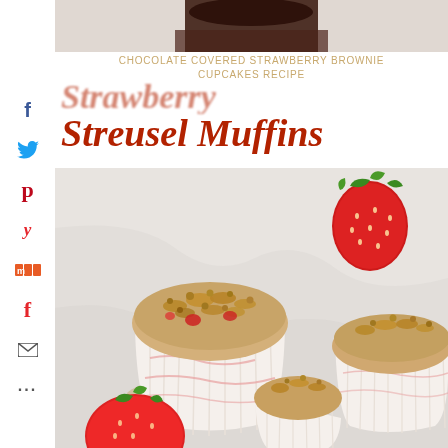[Figure (photo): Top portion of chocolate cupcake in dark wrapper on light background]
CHOCOLATE COVERED STRAWBERRY BROWNIE CUPCAKES RECIPE
[Figure (illustration): Social media sharing sidebar icons: Facebook, Twitter, Pinterest, Yummly, Mix, Flipboard, Email, More]
Strawberry Streusel Muffins
[Figure (photo): Close-up photo of strawberry streusel muffins in white paper cups with fresh strawberries on white marble surface]